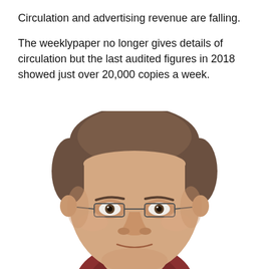Circulation and advertising revenue are falling.
The weeklypaper no longer gives details of circulation but the last audited figures in 2018 showed just over 20,000 copies a week.
[Figure (photo): Headshot of a middle-aged man with short brown hair wearing rimless/thin-frame glasses and a dark red/maroon collared shirt, photographed against a white background from roughly chin to top of head.]